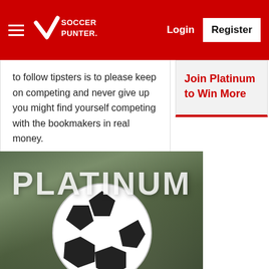SoccerPunter — Login | Register
to follow tipsters is to please keep on competing and never give up you might find yourself competing with the bookmakers in real money.
Play in SoccerPunter Tipsters Competition And Improve Your Betting Skills
Join Platinum to Win More
[Figure (photo): Soccer ball on grass with PLATINUM text overlay]